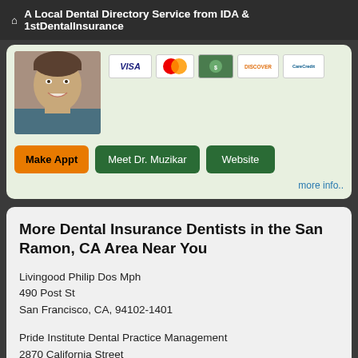A Local Dental Directory Service from IDA & 1stDentalInsurance
[Figure (photo): Photo of dentist (male, smiling) with payment card logos: VISA, MasterCard, green card, Discover, CareCredit]
Make Appt   Meet Dr. Muzikar   Website
more info..
More Dental Insurance Dentists in the San Ramon, CA Area Near You
Livingood Philip Dos Mph
490 Post St
San Francisco, CA, 94102-1401
Pride Institute Dental Practice Management
2870 California Street
San Francisco, CA, 94115